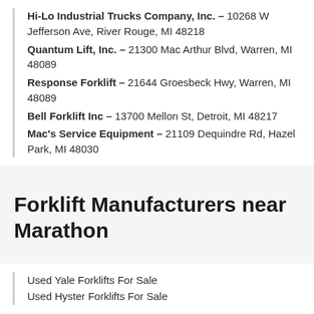Hi-Lo Industrial Trucks Company, Inc. – 10268 W Jefferson Ave, River Rouge, MI 48218
Quantum Lift, Inc. – 21300 Mac Arthur Blvd, Warren, MI 48089
Response Forklift – 21644 Groesbeck Hwy, Warren, MI 48089
Bell Forklift Inc – 13700 Mellon St, Detroit, MI 48217
Mac's Service Equipment – 21109 Dequindre Rd, Hazel Park, MI 48030
Forklift Manufacturers near Marathon
Used Yale Forklifts For Sale
Used Hyster Forklifts For Sale